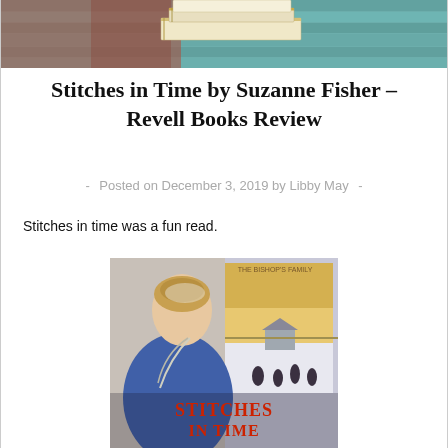[Figure (photo): Stack of books on a rustic wooden background, cropped banner image at the top of the page]
Stitches in Time by Suzanne Fisher – Revell Books Review
- Posted on December 3, 2019 by Libby May -
Stitches in time was a fun read.
[Figure (photo): Book cover of 'Stitches in Time' showing an Amish woman in blue dress near a window, with a winter outdoor scene and the title in large text]